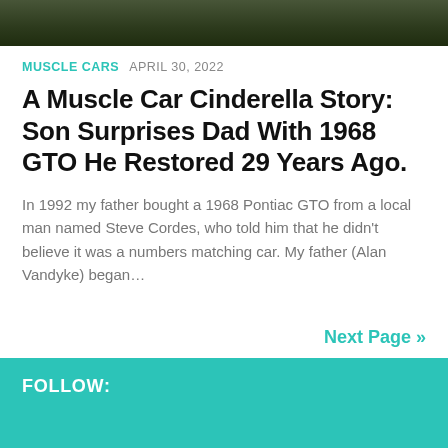[Figure (photo): Top strip showing a partial photo of a classic car and outdoor scenery with leaves on the ground]
MUSCLE CARS  APRIL 30, 2022
A Muscle Car Cinderella Story: Son Surprises Dad With 1968 GTO He Restored 29 Years Ago.
In 1992 my father bought a 1968 Pontiac GTO from a local man named Steve Cordes, who told him that he didn't believe it was a numbers matching car. My father (Alan Vandyke) began…
Next Page »
FOLLOW: